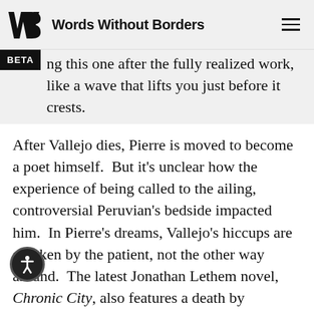Words Without Borders
ng this one after the fully realized work, like a wave that lifts you just before it crests.
After Vallejo dies, Pierre is moved to become a poet himself.  But it's unclear how the experience of being called to the ailing, controversial Peruvian's bedside impacted him.  In Pierre's dreams, Vallejo's hiccups are stricken by the patient, not the other way around.  The latest Jonathan Lethem novel, Chronic City, also features a death by hiccups.  His first book, Gun, With Occasional Music (1994), was a futuristic detective y that Bolaño, who also admired Raymond Chandler and Philip K. Dick, might have read.  It